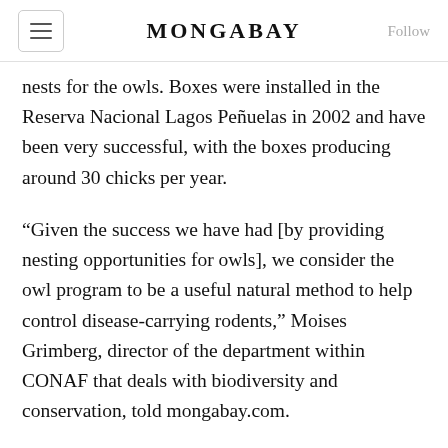MONGABAY
nests for the owls. Boxes were installed in the Reserva Nacional Lagos Peñuelas in 2002 and have been very successful, with the boxes producing around 30 chicks per year.
“Given the success we have had [by providing nesting opportunities for owls], we consider the owl program to be a useful natural method to help control disease-carrying rodents,” Moises Grimberg, director of the department within CONAF that deals with biodiversity and conservation, told mongabay.com.
Locally, other officials such as those at